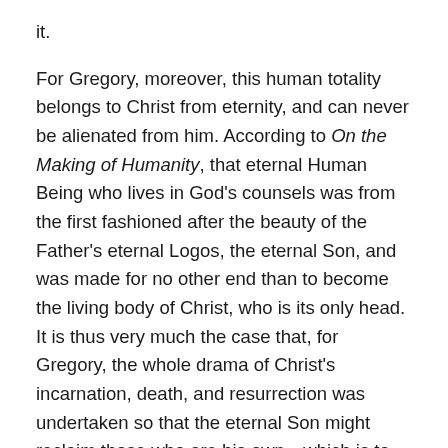it.
For Gregory, moreover, this human totality belongs to Christ from eternity, and can never be alienated from him. According to On the Making of Humanity, that eternal Human Being who lives in God's counsels was from the first fashioned after the beauty of the Father's eternal Logos, the eternal Son, and was made for no other end than to become the living body of Christ, who is its only head. It is thus very much the case that, for Gregory, the whole drama of Christ's incarnation, death, and resurrection was undertaken so that the eternal Son might reclaim those who are his own—which is to say, everyone. By himself entering into the plenitude of humanity as a single man among other men and women, and in thereby assuming humanity's creaturely finitude and history as his own, Christ united humanity into its true wholeness and